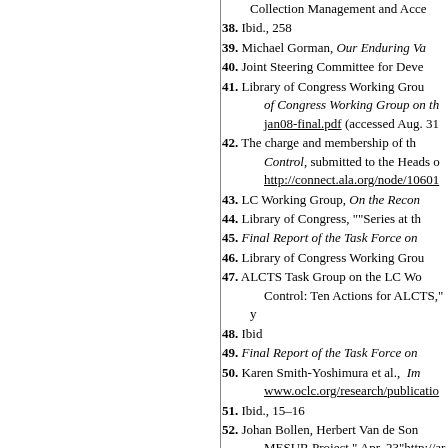Collection Management and Acce...
38. Ibid., 258
39. Michael Gorman, Our Enduring Va...
40. Joint Steering Committee for Deve...
41. Library of Congress Working Grou... of Congress Working Group on th... jan08-final.pdf (accessed Aug. 31...
42. The charge and membership of th... Control, submitted to the Heads o... http://connect.ala.org/node/10601...
43. LC Working Group, On the Recon...
44. Library of Congress, ""Series at th...
45. Final Report of the Task Force on...
46. Library of Congress Working Grou...
47. ALCTS Task Group on the LC Wo... Control: Ten Actions for ALCTS," y...
48. Ibid
49. Final Report of the Task Force on...
50. Karen Smith-Yoshimura et al., Im... www.oclc.org/research/publicatio...
51. Ibid., 15–16
52. Johan Bollen, Herbert Van de Son... MESUR Project," Apr. 23"http://ar...